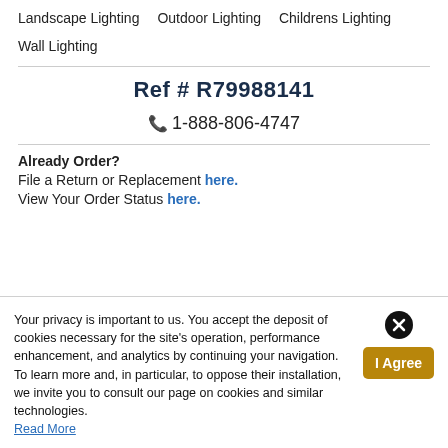Landscape Lighting   Outdoor Lighting   Childrens Lighting   Wall Lighting
Ref # R79988141
1-888-806-4747
Already Order?
File a Return or Replacement here.
View Your Order Status here.
Your privacy is important to us. You accept the deposit of cookies necessary for the site's operation, performance enhancement, and analytics by continuing your navigation. To learn more and, in particular, to oppose their installation, we invite you to consult our page on cookies and similar technologies. Read More